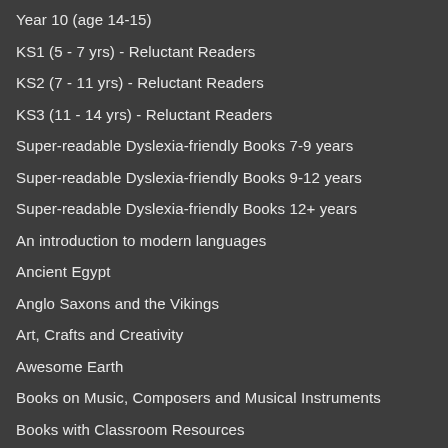Year 10 (age 14-15)
KS1 (5 - 7 yrs) - Reluctant Readers
KS2 (7 - 11 yrs) - Reluctant Readers
KS3 (11 - 14 yrs) - Reluctant Readers
Super-readable Dyslexia-friendly Books 7-9 years
Super-readable Dyslexia-friendly Books 9-12 years
Super-readable Dyslexia-friendly Books 12+ years
An introduction to modern languages
Ancient Egypt
Anglo Saxons and the Vikings
Art, Crafts and Creativity
Awesome Earth
Books on Music, Composers and Musical Instruments
Books with Classroom Resources
Citizenship
Computer Science
Design & Technology
Diverse Voices
Engineering